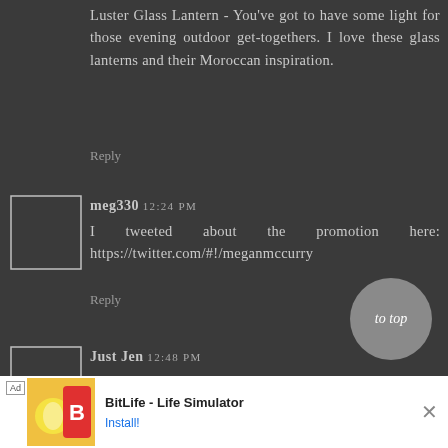Luster Glass Lantern - You've got to have some light for those evening outdoor get-togethers. I love these glass lanterns and their Moroccan inspiration.
Reply
meg330 12:24 PM
I tweeted about the promotion here: https://twitter.com/#!/meganmccurry
Reply
Just Jen 12:48 PM
[Figure (other): to top button - circular gray button with italic text 'to top']
[Figure (other): Advertisement banner for BitLife - Life Simulator app with install button]